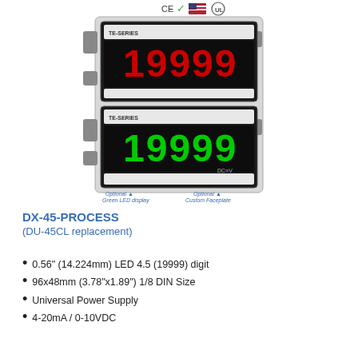[Figure (photo): Photo of DX-45-PROCESS LED panel meter device showing two stacked units — top unit with red LED display reading '19999', bottom unit with green LED display reading '19999'. Certification logos (CE, RoHS, US flag, UL) visible at top. Labels indicate 'Optional Green LED display' and 'Optional Custom Faceplate'.]
DX-45-PROCESS
(DU-45CL replacement)
0.56" (14.224mm) LED 4.5 (19999) digit
96x48mm (3.78"x1.89") 1/8 DIN Size
Universal Power Supply
4-20mA / 0-10VDC